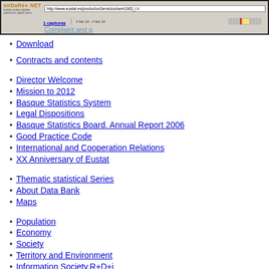[Figure (screenshot): Browser toolbar showing Ondare NET logo, URL bar with http://www.eustat.es/productosServicios/sem1983_i.h..., '1 capturas' link, date range '4 feb 10 - 4 feb 10', and a mini calendar strip]
Download
Contracts and contents
Director Welcome
Mission to 2012
Basque Statistics System
Legal Dispositions
Basque Statistics Board. Annual Report 2006
Good Practice Code
International and Cooperation Relations
XX Anniversary of Eustat
Thematic statistical Series
About Data Bank
Maps
Population
Economy
Society
Territory and Environment
Information Society,R+D+i